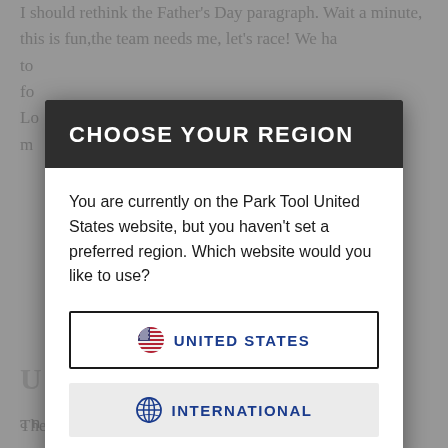I should rethink the Father's Day paragraph. Wait a minute, this is fun,the team needs me, let's race! We ha... to... fo... U! Lo... m...
CHOOSE YOUR REGION
You are currently on the Park Tool United States website, but you haven't set a preferred region. Which website would you like to use?
UNITED STATES
INTERNATIONAL
The day went pretty well, but there were also some